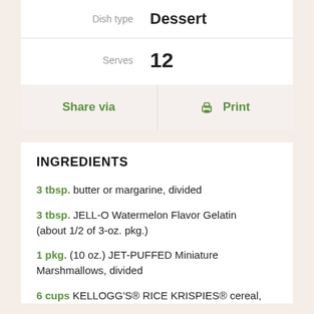Dish type: Dessert
Serves: 12
Share via
Print
INGREDIENTS
3 tbsp. butter or margarine, divided
3 tbsp. JELL-O Watermelon Flavor Gelatin (about 1/2 of 3-oz. pkg.)
1 pkg. (10 oz.) JET-PUFFED Miniature Marshmallows, divided
6 cups KELLOGG'S® RICE KRISPIES® cereal,